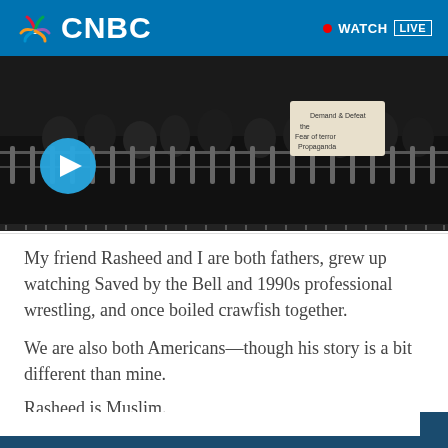CNBC  WATCH LIVE
[Figure (screenshot): Dark video thumbnail showing crowd behind metal fence/barricade, with protest signs visible in background. A cyan/blue play button circle overlaid on lower left.]
My friend Rasheed and I are both fathers, grew up watching Saved by the Bell and 1990s professional wrestling, and once boiled crawfish together.
We are also both Americans—though his story is a bit different than mine.
Rasheed is Muslim.